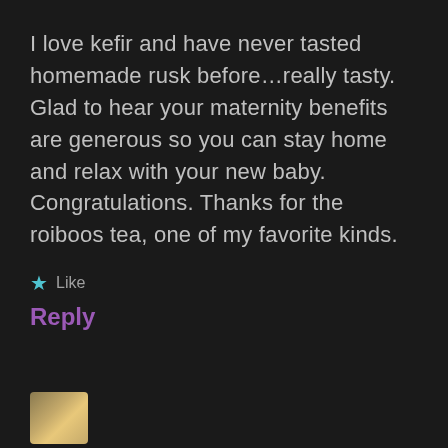I love kefir and have never tasted homemade rusk before…really tasty. Glad to hear your maternity benefits are generous so you can stay home and relax with your new baby. Congratulations. Thanks for the roiboos tea, one of my favorite kinds.
★ Like
Reply